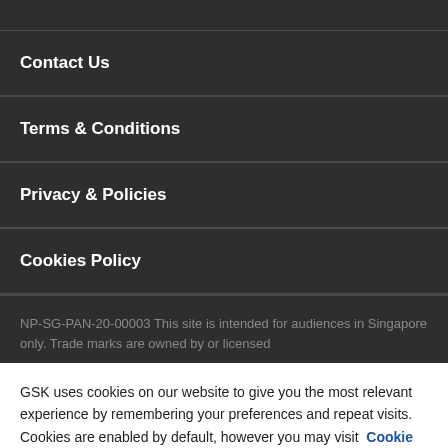Contact Us
Terms & Conditions
Privacy & Policies
Cookies Policy
NP-SG-PAN-20-00003 This site is intended for audiences in Singapore only. Trade marks are owned by or licensed
GSK uses cookies on our website to give you the most relevant experience by remembering your preferences and repeat visits. Cookies are enabled by default, however you may visit Cookie Settings to opt-out of cookie usage by category. Read our Cookie Notice